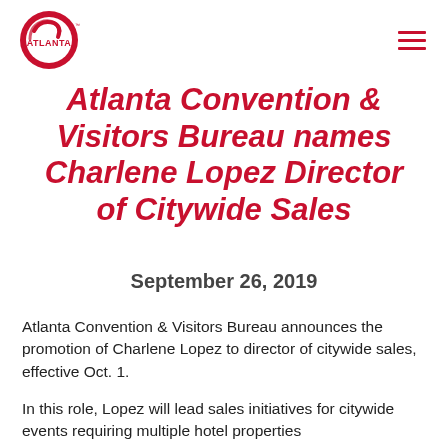[Figure (logo): Atlanta Convention & Visitors Bureau circular red logo with 'ATLANTA' text]
Atlanta Convention & Visitors Bureau names Charlene Lopez Director of Citywide Sales
September 26, 2019
Atlanta Convention & Visitors Bureau announces the promotion of Charlene Lopez to director of citywide sales, effective Oct. 1.
In this role, Lopez will lead sales initiatives for citywide events requiring multiple hotel properties